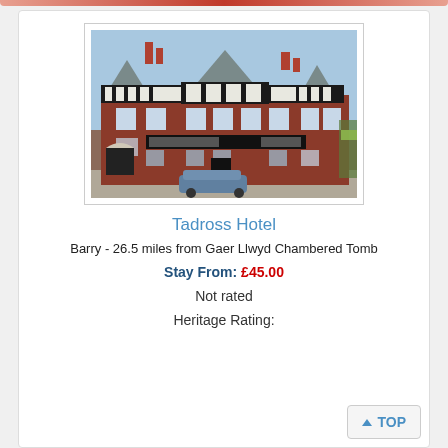[Figure (photo): Exterior photo of Tadross Hotel — a red brick Victorian/Edwardian building with black timber framing on upper floors, multiple gabled dormers, and signage visible at ground level. A car is parked in front.]
Tadross Hotel
Barry - 26.5 miles from Gaer Llwyd Chambered Tomb
Stay From: £45.00
Not rated
Heritage Rating: